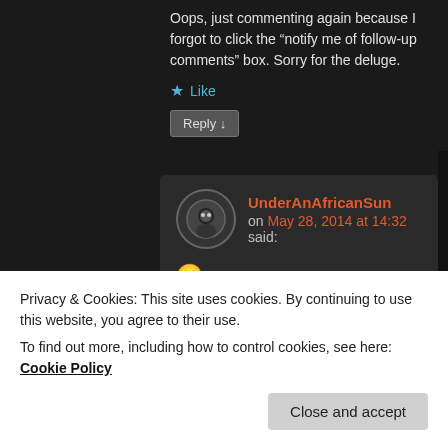Oops, just commenting again because I forgot to click the “notify me of follow-up comments” box. Sorry for the deluge.
★ Like
Reply ↓
UnderAnAfricanSun
on May 28, 2014 at 14:32 said:
🙂
★ Like
Privacy & Cookies: This site uses cookies. By continuing to use this website, you agree to their use.
To find out more, including how to control cookies, see here: Cookie Policy
Close and accept